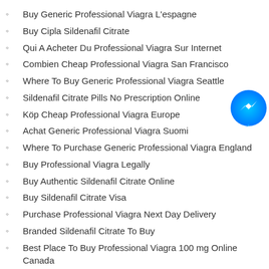Buy Generic Professional Viagra L'espagne
Buy Cipla Sildenafil Citrate
Qui A Acheter Du Professional Viagra Sur Internet
Combien Cheap Professional Viagra San Francisco
Where To Buy Generic Professional Viagra Seattle
Sildenafil Citrate Pills No Prescription Online
Köp Cheap Professional Viagra Europe
Achat Generic Professional Viagra Suomi
Where To Purchase Generic Professional Viagra England
Buy Professional Viagra Legally
Buy Authentic Sildenafil Citrate Online
Buy Sildenafil Citrate Visa
Purchase Professional Viagra Next Day Delivery
Branded Sildenafil Citrate To Buy
Best Place To Buy Professional Viagra 100 mg Online Canada
Generic Sildenafil Citrate Order
Order Generic Professional Viagra Boston